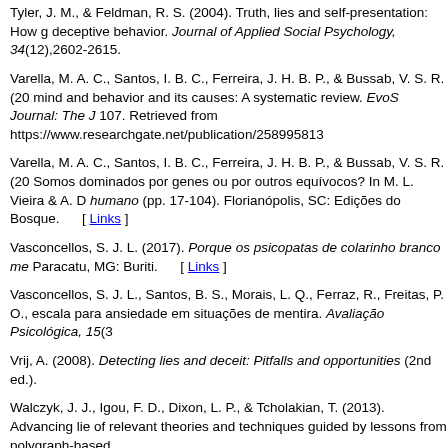Tyler, J. M., & Feldman, R. S. (2004). Truth, lies and self-presentation: How g deceptive behavior. Journal of Applied Social Psychology, 34(12),2602-2615.
Varella, M. A. C., Santos, I. B. C., Ferreira, J. H. B. P., & Bussab, V. S. R. (20 mind and behavior and its causes: A systematic review. EvoS Journal: The J 107. Retrieved from https://www.researchgate.net/publication/258995813
Varella, M. A. C., Santos, I. B. C., Ferreira, J. H. B. P., & Bussab, V. S. R. (20 Somos dominados por genes ou por outros equívocos? In M. L. Vieira & A. D humano (pp. 17-104). Florianópolis, SC: Edições do Bosque. [ Links ]
Vasconcellos, S. J. L. (2017). Porque os psicopatas de colarinho branco me Paracatu, MG: Buriti. [ Links ]
Vasconcellos, S. J. L., Santos, B. S., Morais, L. Q., Ferraz, R., Freitas, P. O., escala para ansiedade em situações de mentira. Avaliação Psicológica, 15(3
Vrij, A. (2008). Detecting lies and deceit: Pitfalls and opportunities (2nd ed.).
Walczyk, J. J., Igou, F. D., Dixon, L. P., & Tcholakian, T. (2013). Advancing lie of relevant theories and techniques guided by lessons from polygraph-based [ Links ]
Williams, S., Moore, K., Crossman, A. M., & Talwar, V. (2016). The role of exe prosocial lie-telling. Journal of Experimental Child Psychology, 141, 256-266.
Wilson, A. E., Smith, M. D., & Ross, H. S. (2003). The nature and effects of y doi: 10.1111/1467-9507.00220 [ Links ]
Wright, R. (2000). Não zero - A lógica do destino humano. Rio de Janeiro, RJ.
Yamamoto, M., Leitão, M., & Eugenio, T. (2017). A perspectiva evolucionis